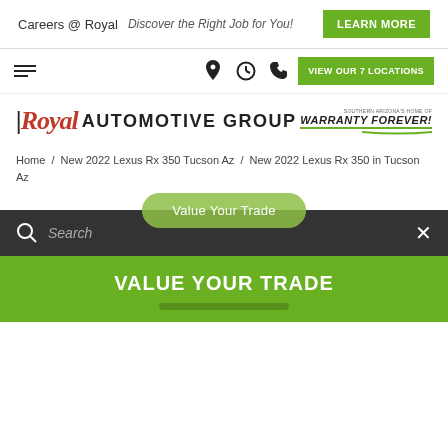Careers @ Royal   Discover the Right Job for You!   LEARN MORE
VIEW OUR 7 LOCATIONS
[Figure (logo): Royal Automotive Group logo with red italic Royal text and Warranty Forever badge]
Home / New 2022 Lexus Rx 350 Tucson Az / New 2022 Lexus Rx 350 in Tucson Az
Value Your Trade
Search
VALUE YOUR TRADE